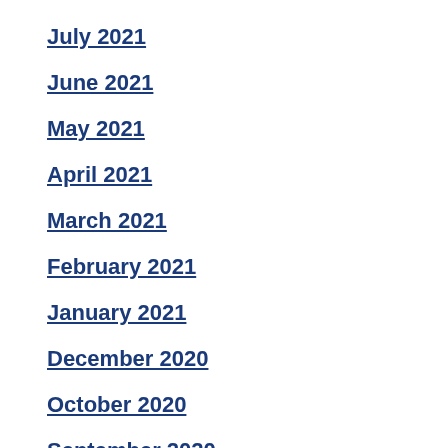July 2021
June 2021
May 2021
April 2021
March 2021
February 2021
January 2021
December 2020
October 2020
September 2020
August 2020
July 2020
June 2020
May 2020